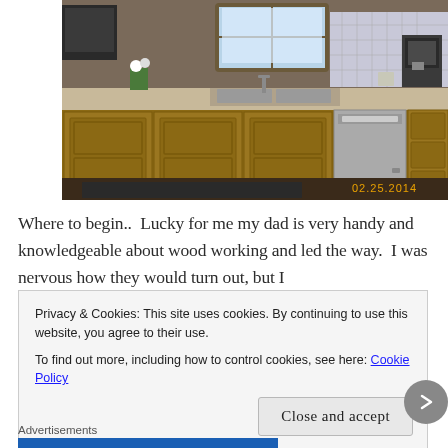[Figure (photo): A kitchen interior showing wooden cabinets, a double sink with a window above it, a stainless steel dishwasher, a coffee maker on the right, and a decorative tile backsplash. A date stamp '02.25.2014' appears in the lower right corner. The countertop has various items including flowers, dishes, and appliances.]
Where to begin..  Lucky for me my dad is very handy and knowledgeable about wood working and led the way.  I was nervous how they would turn out, but I
Privacy & Cookies: This site uses cookies. By continuing to use this website, you agree to their use.
To find out more, including how to control cookies, see here: Cookie Policy
Close and accept
Advertisements